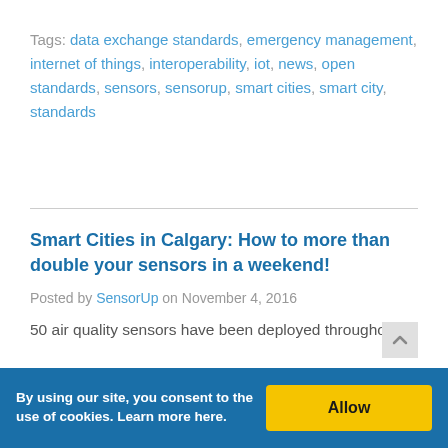Tags: data exchange standards, emergency management, internet of things, interoperability, iot, news, open standards, sensors, sensorup, smart cities, smart city, standards
Smart Cities in Calgary: How to more than double your sensors in a weekend!
Posted by SensorUp on November 4, 2016
50 air quality sensors have been deployed throughout
By using our site, you consent to the use of cookies. Learn more here.